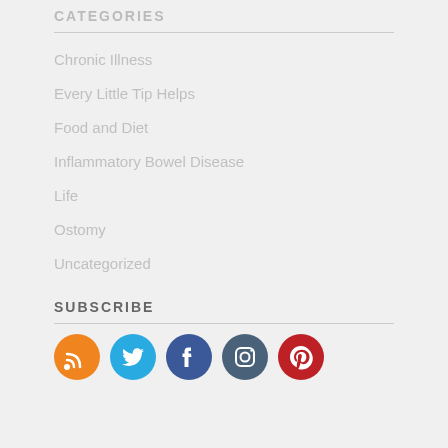CATEGORIES
Chronic Illness
Every Little Tip Helps
Food and Diet
Inflammatory Bowel Disease
Life
Ostomy
Uncategorized
SUBSCRIBE
[Figure (infographic): Social media icons: RSS (orange), Twitter (light blue), Facebook (dark blue), Instagram (dark teal), Pinterest (red)]